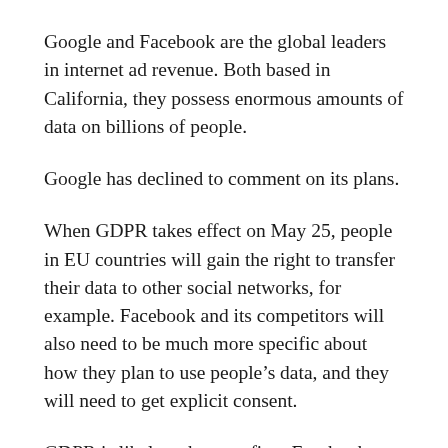Google and Facebook are the global leaders in internet ad revenue. Both based in California, they possess enormous amounts of data on billions of people.
Google has declined to comment on its plans.
When GDPR takes effect on May 25, people in EU countries will gain the right to transfer their data to other social networks, for example. Facebook and its competitors will also need to be much more specific about how they plan to use people’s data, and they will need to get explicit consent.
GDPR is likely to hurt profit at Facebook because it could reduce the value of ads if the company cannot use certain information about its users.